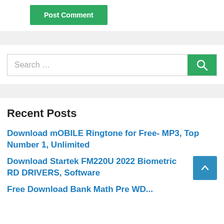[Figure (screenshot): Green 'Post Comment' button]
[Figure (screenshot): Search bar with green search button containing a magnifying glass icon]
Recent Posts
Download mOBILE Ringtone for Free- MP3, Top Number 1, Unlimited
Download Startek FM220U 2022 Biometric RD DRIVERS, Software
Free Download Bank Math Pre WP...